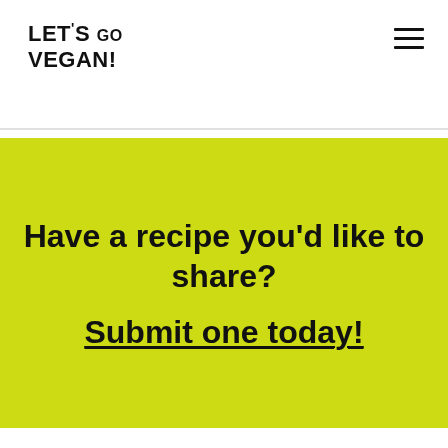LET'S GO VEGAN!
Have a recipe you'd like to share?
Submit one today!